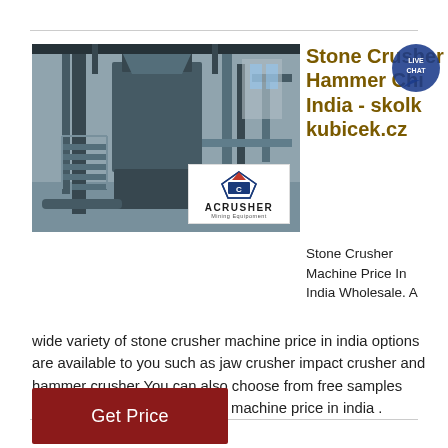[Figure (photo): Industrial stone crusher / hammer machine in a factory setting, with ACRUSHER Mining Equipment logo overlay in the bottom right of the image.]
Stone Crusher Hammer Chi... India - skolk... kubicek.cz
Stone Crusher Machine Price In India Wholesale. A wide variety of stone crusher machine price in india options are available to you such as jaw crusher impact crusher and hammer crusher You can also choose from free samples There are 2849 stone crusher machine price in india .
[Figure (infographic): Live Chat speech bubble icon with 'LIVE CHAT' text in teal/blue.]